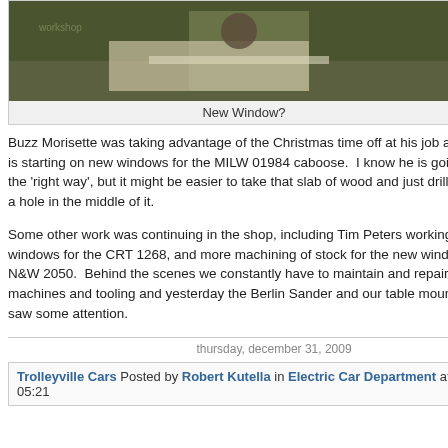[Figure (photo): Photo of a person working on a window for a railroad caboose in a workshop setting]
New Window?
Buzz Morisette was taking advantage of the Christmas time off at his job and here he is starting on new windows for the MILW 01984 caboose. I know he is going to do this the 'right way', but it might be easier to take that slab of wood and just drill and saw out a hole in the middle of it.
Some other work was continuing in the shop, including Tim Peters working on new windows for the CRT 1268, and more machining of stock for the new windows for the N&W 2050. Behind the scenes we constantly have to maintain and repair our machines and tooling and yesterday the Berlin Sander and our table mounted router saw some attention.
thursday, december 31, 2009
Trolleyville Cars Posted by Robert Kutella in Electric Car Department at 05:21
Model Railroad Display (9)
News and Publicity (26)
Passenger Car Department (246)
Signal Department (4)
Steam Department (201)
Strahorn Library (1)
Track Department (47)
Trolley Bus Department (54)
Uncategorized - Mobile updates (3)
Wood Shop (369)
calendar
| Sun | Mon | Tue | Wed | Thu | Fri | Sat |
| --- | --- | --- | --- | --- | --- | --- |
|  |  | 1 | 2 | 3 | 4 | 5 |
| 6 | 7 | 8 | 9 | 10 | 11 | 12 |
| 13 | 14 | 15 | 16 | 17 | 18 | 19 |
| 20 | 21 | 22 | 23 | 24 | 25 | 26 |
| 27 | 28 | 29 | 30 | 31 |  |  |
quicksearch